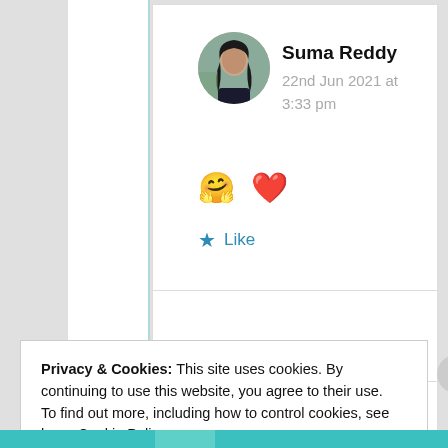[Figure (photo): Circular avatar photo of a young woman with dark hair, outdoors background]
Suma Reddy
22nd Jun 2021 at 3:33 pm
🤗 ❤️
★ Like
Privacy & Cookies: This site uses cookies. By continuing to use this website, you agree to their use.
To find out more, including how to control cookies, see here: Cookie Policy
Close and accept